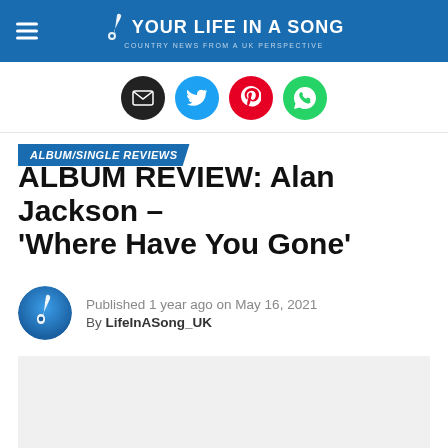YOUR LIFE IN A SONG
[Figure (infographic): Social share icons: email (black), Twitter (blue), Pinterest (red), WhatsApp (green)]
ALBUM/SINGLE REVIEWS
ALBUM REVIEW: Alan Jackson – 'Where Have You Gone'
Published 1 year ago on May 16, 2021 By LifeInASong_UK
[Figure (photo): Album image placeholder (light grey box)]